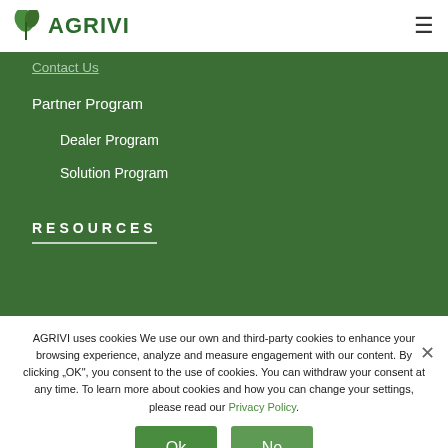AGRIVI
Contact Us
Partner Program
Dealer Program
Solution Program
RESOURCES
AGRIVI uses cookies We use our own and third-party cookies to enhance your browsing experience, analyze and measure engagement with our content. By clicking „OK", you consent to the use of cookies. You can withdraw your consent at any time. To learn more about cookies and how you can change your settings, please read our Privacy Policy.